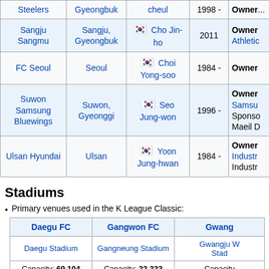| Club | City | Manager | Founded | Owner/Sponsor |
| --- | --- | --- | --- | --- |
| Steelers | Gyeongbuk | cheul | 1998 - | Owner... |
| Sangju Sangmu | Sangju, Gyeongbuk | Cho Jin-ho | 2011 | Owner Athletic... |
| FC Seoul | Seoul | Choi Yong-soo | 1984 - | Owner... |
| Suwon Samsung Bluewings | Suwon, Gyeonggi | Seo Jung-won | 1996 - | Owner Samsung Sponso Maeil D... |
| Ulsan Hyundai | Ulsan | Yoon Jung-hwan | 1984 - | Owner Industr Industr... |
Stadiums
Primary venues used in the K League Classic:
| Daegu FC | Gangwon FC | Gwang... |
| --- | --- | --- |
| Daegu Stadium | Gangneung Stadium | Gwangju W... Stad... |
| Capacity: 69,104 | Capacity: 22,333 | Capacity... |
| [image] | [empty] | [image] |